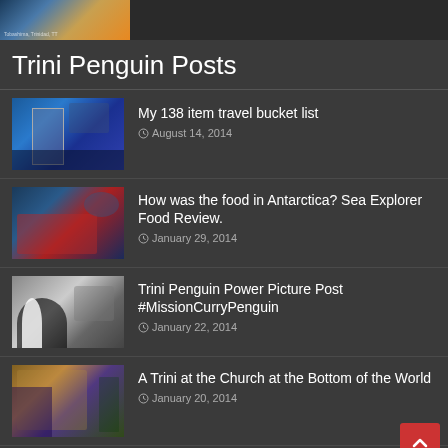[Figure (photo): Tropical sunset/beach photo thumbnail at top of page]
Trini Penguin Posts
My 138 item travel bucket list – August 14, 2014
How was the food in Antarctica? Sea Explorer Food Review. – January 29, 2014
Trini Penguin Power Picture Post #MissionCurryPenguin – January 22, 2014
A Trini at the Church at the Bottom of the World – January 20, 2014
Port Lockroy Museum and the Naked Ladies